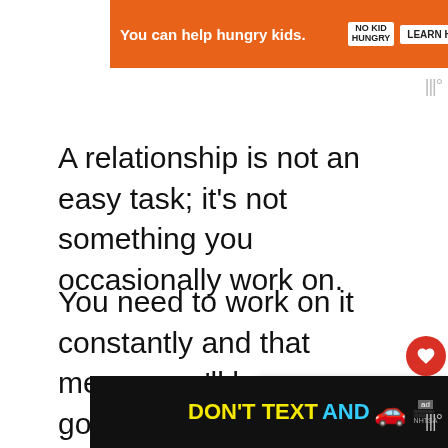[Figure (screenshot): Orange advertisement banner: 'You can help hungry kids.' with No Kid Hungry logo and LEARN HOW button]
A relationship is not an easy task; it's not something you occasionally work on.
You need to work on it constantly and that means you'll have very good and very bad days.
However, if you love the person and care for them, it's always worth it in t...
[Figure (screenshot): Bottom advertisement banner: DON'T TEXT AND [car emoji] NHTSA ad on black background]